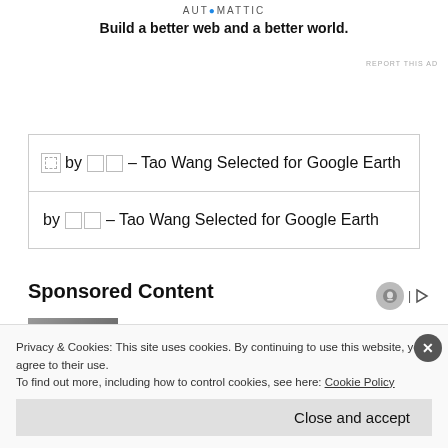[Figure (logo): Automattic logo with stylized 'O' dot]
Build a better web and a better world.
REPORT THIS AD
| by □□ – Tao Wang Selected for Google Earth |
| by □□ – Tao Wang Selected for Google Earth |
Sponsored Content
The 5 Books To Read To
Privacy & Cookies: This site uses cookies. By continuing to use this website, you agree to their use.
To find out more, including how to control cookies, see here: Cookie Policy
Close and accept
REPORT THIS AD